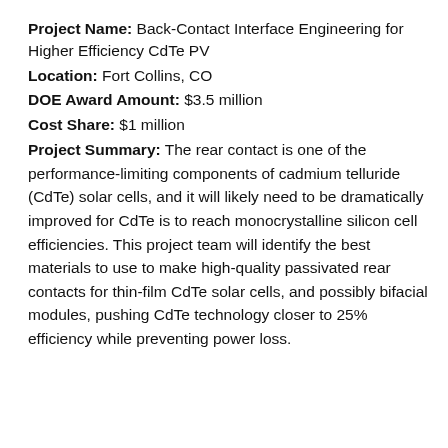Project Name: Back-Contact Interface Engineering for Higher Efficiency CdTe PV
Location: Fort Collins, CO
DOE Award Amount: $3.5 million
Cost Share: $1 million
Project Summary: The rear contact is one of the performance-limiting components of cadmium telluride (CdTe) solar cells, and it will likely need to be dramatically improved for CdTe is to reach monocrystalline silicon cell efficiencies. This project team will identify the best materials to use to make high-quality passivated rear contacts for thin-film CdTe solar cells, and possibly bifacial modules, pushing CdTe technology closer to 25% efficiency while preventing power loss.